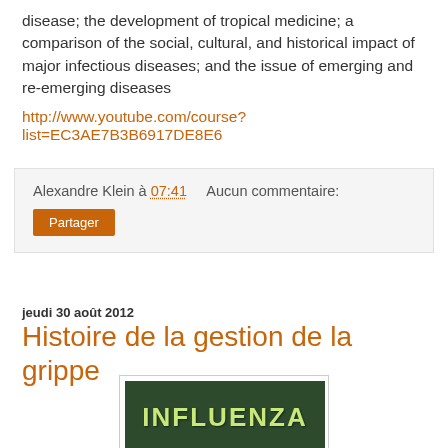disease; the development of tropical medicine; a comparison of the social, cultural, and historical impact of major infectious diseases; and the issue of emerging and re-emerging diseases
http://www.youtube.com/course?list=EC3AE7B3B6917DE8E6
Alexandre Klein à 07:41   Aucun commentaire:
Partager
jeudi 30 août 2012
Histoire de la gestion de la grippe
[Figure (photo): Book cover showing INFLUENZA text in green letters on a dark green background with virus imagery]